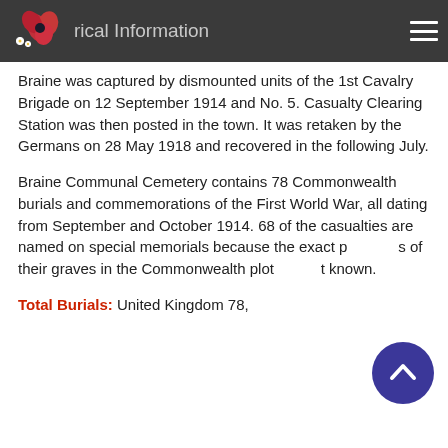Historical Information
Braine was captured by dismounted units of the 1st Cavalry Brigade on 12 September 1914 and No. 5. Casualty Clearing Station was then posted in the town. It was retaken by the Germans on 28 May 1918 and recovered in the following July.
Braine Communal Cemetery contains 78 Commonwealth burials and commemorations of the First World War, all dating from September and October 1914. 68 of the casualties are named on special memorials because the exact positions of their graves in the Commonwealth plot are not known.
Total Burials: United Kingdom 78,